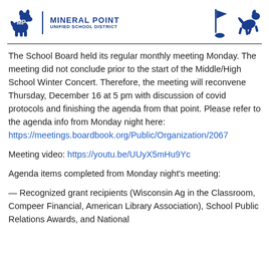[Figure (logo): Mineral Point Unified School District logo with mascot dog and text, plus two additional mascot/icon figures on the right]
The School Board held its regular monthly meeting Monday. The meeting did not conclude prior to the start of the Middle/High School Winter Concert. Therefore, the meeting will reconvene Thursday, December 16 at 5 pm with discussion of covid protocols and finishing the agenda from that point. Please refer to the agenda info from Monday night here:
https://meetings.boardbook.org/Public/Organization/2067
Meeting video: https://youtu.be/UUyX5mHu9Yc
Agenda items completed from Monday night’s meeting:
— Recognized grant recipients (Wisconsin Ag in the Classroom, Compeer Financial, American Library Association), School Public Relations Awards, and National